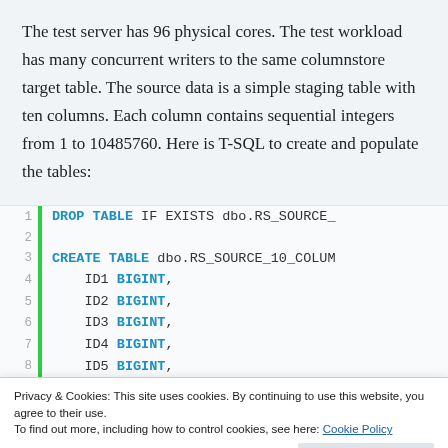The test server has 96 physical cores. The test workload has many concurrent writers to the same columnstore target table. The source data is a simple staging table with ten columns. Each column contains sequential integers from 1 to 10485760. Here is T-SQL to create and populate the tables:
[Figure (screenshot): Code block showing T-SQL snippet: DROP TABLE IF EXISTS dbo.RS_SOURCE_ on line 1, CREATE TABLE dbo.RS_SOURCE_10_COLUM on line 3, followed by ID1 BIGINT through ID5 BIGINT on lines 4-8, and partial ID6 BIGINT on line 9, with green left-border bar and line numbers.]
Privacy & Cookies: This site uses cookies. By continuing to use this website, you agree to their use.
To find out more, including how to control cookies, see here: Cookie Policy
Close and accept
[Figure (screenshot): Partial code lines at bottom: line 10 INSERT INTO dbo.RS_SOURCE_10_COLUM, line 11 partial WITH (TABLOU...)]